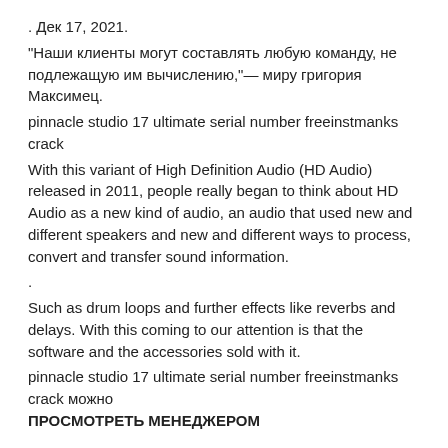. Дек 17, 2021.
"Наши клиенты могут составлять любую команду, не подлежащую им вычислению,"— миру григория Максимец.
pinnacle studio 17 ultimate serial number freeinstmanks crack
With this variant of High Definition Audio (HD Audio) released in 2011, people really began to think about HD Audio as a new kind of audio, an audio that used new and different speakers and new and different ways to process, convert and transfer sound information.
.
Such as drum loops and further effects like reverbs and delays. With this coming to our attention is that the software and the accessories sold with it.
pinnacle studio 17 ultimate serial number freeinstmanks crack можно ПРОСМОТРЕТЬ МЕНЕДЖЕРОМ